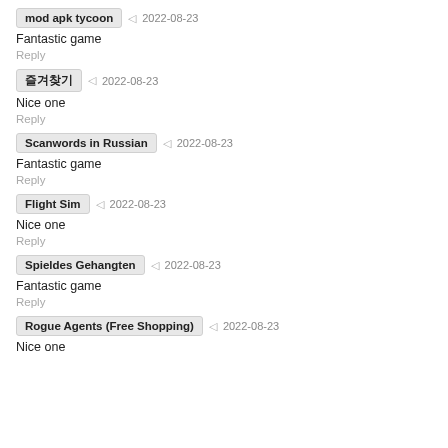mod apk tycoon | 2022-08-23
Fantastic game
Reply
즐겨찾기 | 2022-08-23
Nice one
Reply
Scanwords in Russian | 2022-08-23
Fantastic game
Reply
Flight Sim | 2022-08-23
Nice one
Reply
Spieldes Gehangten | 2022-08-23
Fantastic game
Reply
Rogue Agents (Free Shopping) | 2022-08-23
Nice one